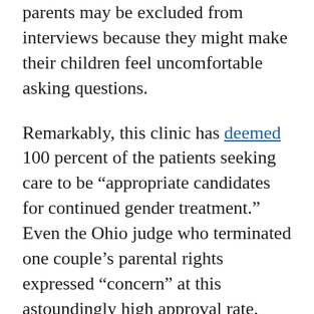parents may be excluded from interviews because they might make their children feel uncomfortable asking questions.
Remarkably, this clinic has deemed 100 percent of the patients seeking care to be “appropriate candidates for continued gender treatment.” Even the Ohio judge who terminated one couple’s parental rights expressed “concern” at this astoundingly high approval rate.
Transgender advocates dismiss these concerns by sounding an alarm that gender-dysphoric children will be at higher